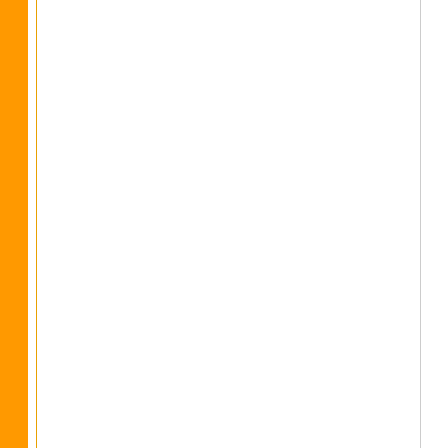Permission to reproduce any copyrighted ownership of any copyrighted materials.
Here is the Design that was sent to us by client.    Now for the construction and pic
[Figure (illustration): A partial view of a decorative rug or textile design sketch with orange/red motifs on white background, showing intricate patterns.]
[Figure (photo): A photograph of a rug or carpet with dark black border and white/light center with decorative patterns.]